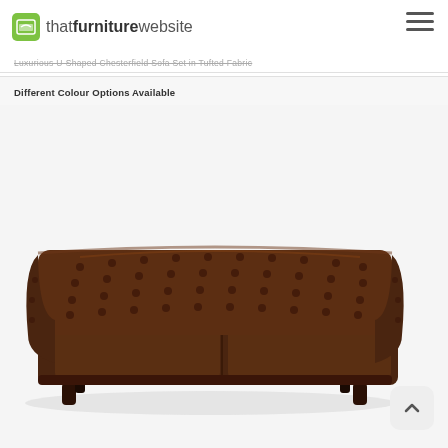thatfurniturewebsite
Luxurious U-Shaped Chesterfield Sofa Set in Tufted Fabric
Different Colour Options Available
[Figure (photo): A dark brown tufted leather Chesterfield sofa with button-tufted back and arms, classic rolled arms, and dark wooden turned legs, photographed on a white background.]